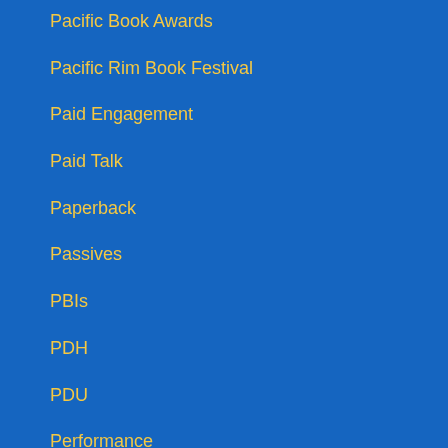Pacific Book Awards
Pacific Rim Book Festival
Paid Engagement
Paid Talk
Paperback
Passives
PBIs
PDH
PDU
Performance